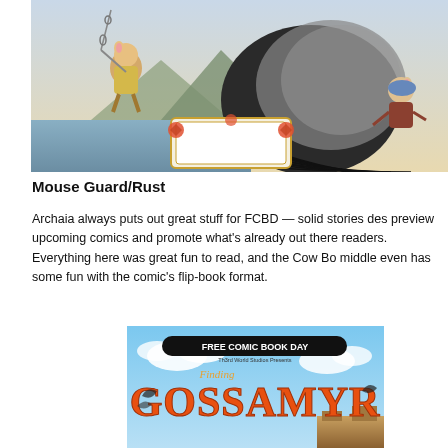[Figure (illustration): Comic book cover art showing Mouse Guard characters — a mouse warrior swinging on chains on the left and another mouse character on the right, set against a landscape background with a decorative ornamental label frame in the center bottom]
Mouse Guard/Rust
Archaia always puts out great stuff for FCBD — solid stories des preview upcoming comics and promote what's already out there readers. Everything here was great fun to read, and the Cow Bo middle even has some fun with the comic's flip-book format.
[Figure (illustration): Free Comic Book Day cover for 'Finding Gossamyr' by Th3rd World Studios Presents, showing the title in large orange letters against a sky background with fantastical creatures]